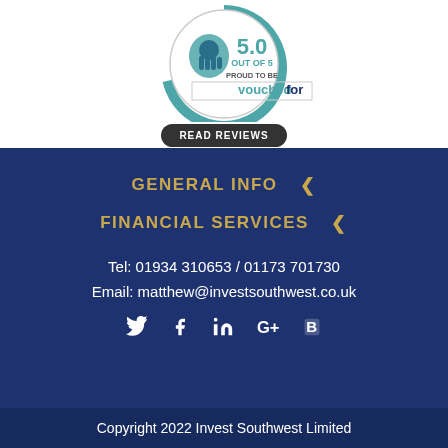[Figure (logo): VouchedFor badge showing 5.0 out of 5 rating with 'Proud to be VouchedFor' text and a 'Read Reviews' button]
GENERAL INFO
FINANCIAL SERVICES
Tel: 01934 310653 / 01173 701730
Email: matthew@investsouthwest.co.uk
[Figure (infographic): Social media icons: Twitter, Facebook, LinkedIn, Google+, Blogger]
Copyright 2022 Invest Southwest Limited